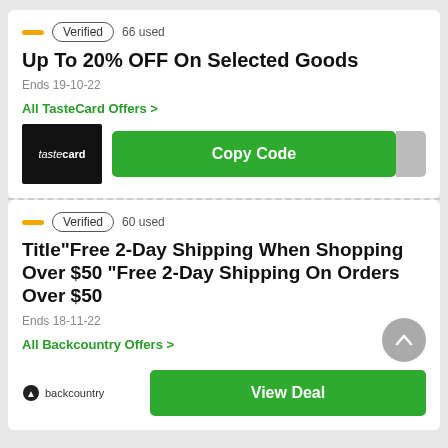Verified  66 used
Up To 20% OFF On Selected Goods
Ends 19-10-22
All TasteCard Offers >
Copy Code
Verified  60 used
Title"Free 2-Day Shipping When Shopping Over $50 "Free 2-Day Shipping On Orders Over $50
Ends 18-11-22
All Backcountry Offers >
View Deal